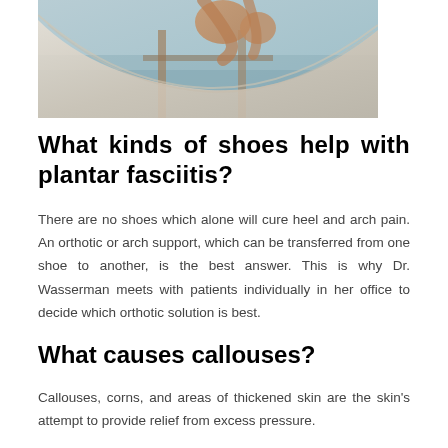[Figure (photo): Photo of a person relaxing in a white hammock, partial view of legs and fabric against a beach/ocean background]
What kinds of shoes help with plantar fasciitis?
There are no shoes which alone will cure heel and arch pain. An orthotic or arch support, which can be transferred from one shoe to another, is the best answer. This is why Dr. Wasserman meets with patients individually in her office to decide which orthotic solution is best.
What causes callouses?
Callouses, corns, and areas of thickened skin are the skin's attempt to provide relief from excess pressure.